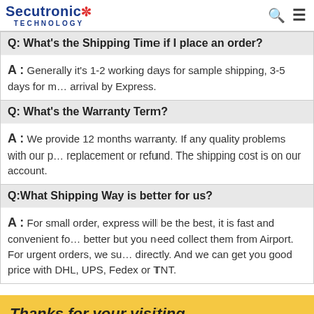Secutronic Technology
Q: What's the Shipping Time if I place an order?
A : Generally it's 1-2 working days for sample shipping, 3-5 days for mass production. 3-5 days of arrival by Express.
Q: What's the Warranty Term?
A : We provide 12 months warranty. If any quality problems with our products, we offer free replacement or refund. The shipping cost is on our account.
Q:What Shipping Way is better for us?
A : For small order, express will be the best, it is fast and convenient for you. Air freight is better but you need collect them from Airport. For urgent orders, we suggest ship to your door directly. And we can get you good price with DHL, UPS, Fedex or TNT.
Thanks for your visiting
Any Questions, please feel free to contact.